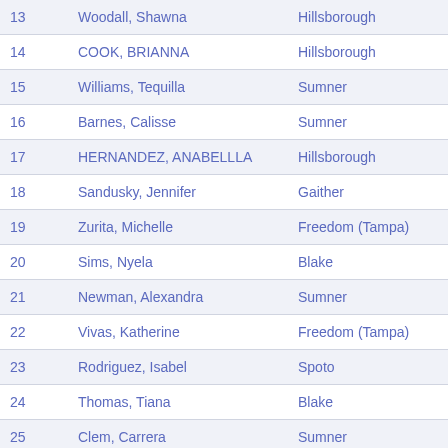| # | Name | School | Time |
| --- | --- | --- | --- |
| 13 | Woodall, Shawna | Hillsborough | 1:04.81 |
| 14 | COOK, BRIANNA | Hillsborough | 1:04.18 |
| 15 | Williams, Tequilla | Sumner | 1:05.78 |
| 16 | Barnes, Calisse | Sumner | 1:06.24 |
| 17 | HERNANDEZ, ANABELLLA | Hillsborough | 1:06.66 |
| 18 | Sandusky, Jennifer | Gaither | 1:07.48 |
| 19 | Zurita, Michelle | Freedom (Tampa) | 1:07.88 |
| 20 | Sims, Nyela | Blake | 1:08.15 |
| 21 | Newman, Alexandra | Sumner | 1:09.75 |
| 22 | Vivas, Katherine | Freedom (Tampa) | 1:10.16 |
| 23 | Rodriguez, Isabel | Spoto | 1:10.51 |
| 24 | Thomas, Tiana | Blake | 1:10.69 |
| 25 | Clem, Carrera | Sumner | 1:11.14 |
| 26 | Garcia, Arianna | Sumner | 1:11.85 |